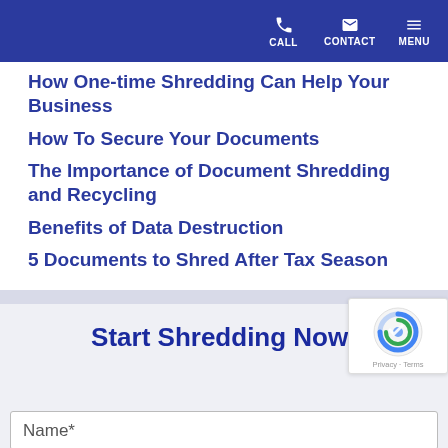CALL  CONTACT  MENU
How One-time Shredding Can Help Your Business
How To Secure Your Documents
The Importance of Document Shredding and Recycling
Benefits of Data Destruction
5 Documents to Shred After Tax Season
Start Shredding Now!
Name*